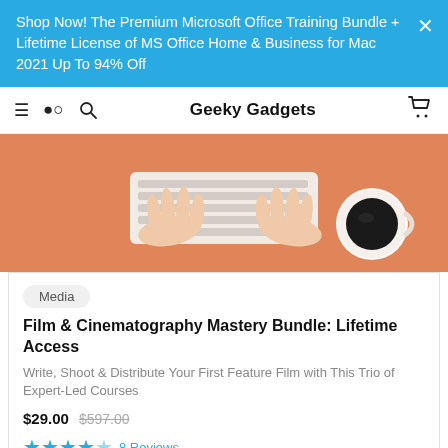Shop Now! The Premium Microsoft Office Training Bundle + Lifetime License of MS Office Home & Business for Mac 2021 Up To 94% Off
Geeky Gadgets
[Figure (photo): Top-down view of hands typing on a white keyboard on an orange/coral desk with a coffee cup on the right side]
Media
Film & Cinematography Mastery Bundle: Lifetime Access
Write, Shoot & Distribute Your First Feature Film with This Trio of Expert-Led Courses
$29.00  $597.00
8 Reviews
Sign Up For Email &